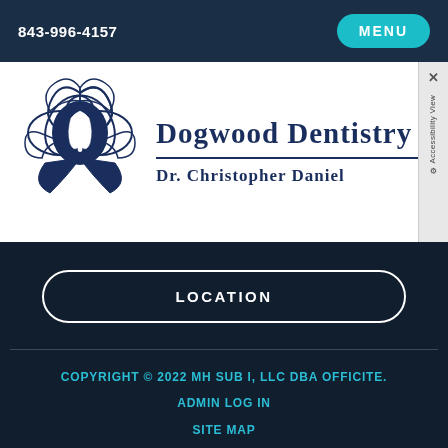843-996-4157  MENU
[Figure (logo): Dogwood Dentistry logo with a flower and tooth illustration in navy blue, alongside text 'Dogwood Dentistry' and 'Dr. Christopher Daniel']
LOCATION
COPYRIGHT © 2022 MH SUB I, LLC DBA OFFICITE.
ADMIN LOG IN
SITE MAP